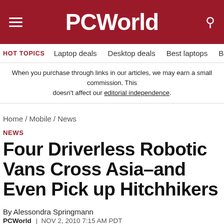PCWorld
HOT TOPICS  Laptop deals  Desktop deals  Best laptops  Best ch
When you purchase through links in our articles, we may earn a small commission. This doesn't affect our editorial independence.
Home / Mobile / News
NEWS
Four Driverless Robotic Vans Cross Asia–and Even Pick up Hitchhikers
By Alessondra Springmann
PCWorld  |  NOV 2, 2010 7:15 AM PDT